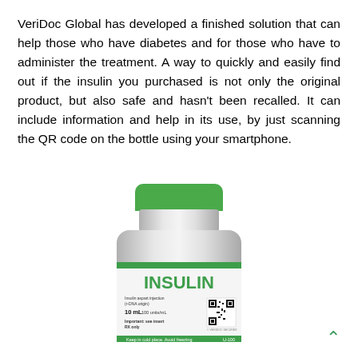VeriDoc Global has developed a finished solution that can help those who have diabetes and for those who have to administer the treatment. A way to quickly and easily find out if the insulin you purchased is not only the original product, but also safe and hasn't been recalled. It can include information and help in its use, by just scanning the QR code on the bottle using your smartphone.
[Figure (photo): A medical vial/bottle of Insulin with a green cap, silver body, and a label reading 'INSULIN' in large green letters. The label includes text: 'Insulin aspart injection (r-DNA origin)', '10 mL 100 units/mL', 'Important: see insert', 'RX only', and a QR code. The bottom band reads 'Keep in cold place. Avoid freezing  U-100'.]